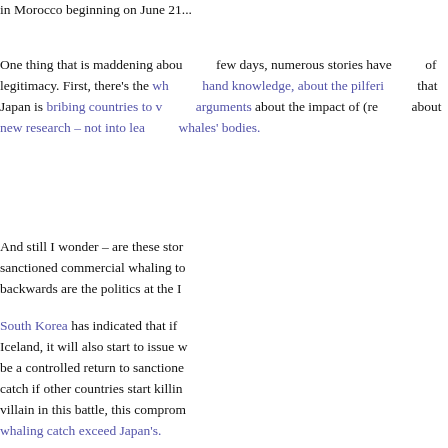in Morocco beginning on June 21...
One thing that is maddening about... few days, numerous stories have... of legitimacy. First, there's the wh... hand knowledge, about the pilferi... that Japan is bribing countries to v... arguments about the impact of (re... about new research – not into lea... whales' bodies.
And still I wonder – are these stor... sanctioned commercial whaling to... backwards are the politics at the I...
South Korea has indicated that if... Iceland, it will also start to issue w... be a controlled return to sanctione... catch if other countries start killing... villain in this battle, this comprom... whaling catch exceed Japan's.